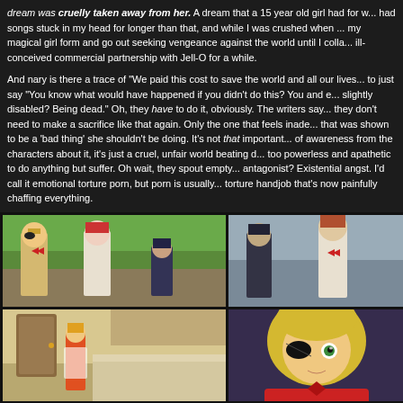dream was cruelly taken away from her. A dream that a 15 year old girl had for w... had songs stuck in my head for longer than that, and while I was crushed when ... my magical girl form and go out seeking vengeance against the world until I colla... ill-conceived commercial partnership with Jell-O for a while.
And nary is there a trace of "We paid this cost to save the world and all our lives... to just say "You know what would have happened if you didn't do this? You and e... slightly disabled? Being dead." Oh, they have to do it, obviously. The writers say... they don't need to make a sacrifice like that again. Only the one that feels inade... that was shown to be a 'bad thing' she shouldn't be doing. It's not that important... of awareness from the characters about it, it's just a cruel, unfair world beating d... too powerless and apathetic to do anything but suffer. Oh wait, they spout empty... antagonist? Existential angst. I'd call it emotional torture porn, but porn is usually... torture handjob that's now painfully chaffing everything.
[Figure (photo): Anime screenshot showing three characters standing outdoors, one with blonde hair and eyepatch, one with red hair, one with dark hair]
[Figure (photo): Anime screenshot showing two characters, one with dark hair and one with reddish-brown hair in school uniform]
[Figure (photo): Anime screenshot showing an interior kitchen/room scene with a character in an apron]
[Figure (photo): Anime screenshot showing a close-up of a blonde character with a green eye and eyepatch]